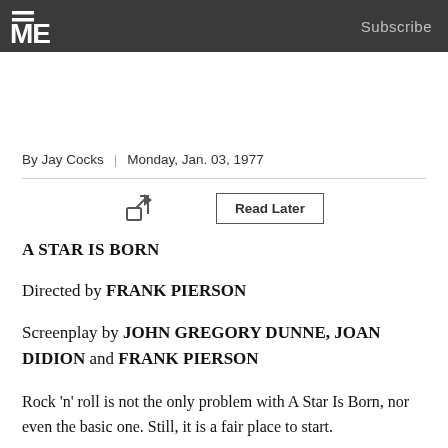ME  Subscribe
By Jay Cocks  |  Monday, Jan. 03, 1977
A STAR IS BORN
Directed by FRANK PIERSON
Screenplay by JOHN GREGORY DUNNE, JOAN DIDION and FRANK PIERSON
Rock 'n' roll is not the only problem with A Star Is Born, nor even the basic one. Still, it is a fair place to start.